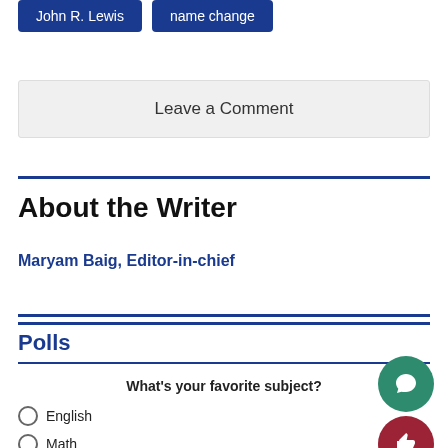John R. Lewis
name change
Leave a Comment
About the Writer
Maryam Baig, Editor-in-chief
Polls
What's your favorite subject?
English
Math